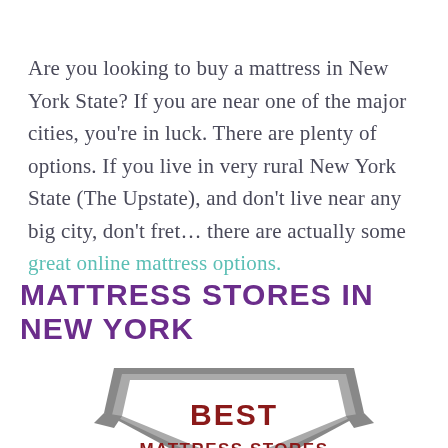Are you looking to buy a mattress in New York State? If you are near one of the major cities, you're in luck. There are plenty of options. If you live in very rural New York State (The Upstate), and don't live near any big city, don't fret… there are actually some great online mattress options.
MATTRESS STORES IN NEW YORK
[Figure (illustration): A grey shield/badge shape with 'BEST MATTRESS STORES' text inside, partially visible at the bottom of the page]